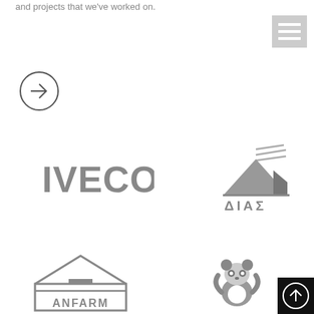and projects that we've worked on.
[Figure (logo): Hamburger menu icon with three horizontal white bars on gray background]
[Figure (other): Circle with right arrow inside]
[Figure (logo): IVECO logo in bold gray uppercase letters]
[Figure (logo): DIAS logo with mountain/building graphic and diagonal lines above, Greek text ΔIAΣ below]
[Figure (logo): ANFARM logo inside a barn/house outline shape]
[Figure (logo): WWF panda logo]
[Figure (other): Black square with circle containing upward arrow, scroll-to-top button]